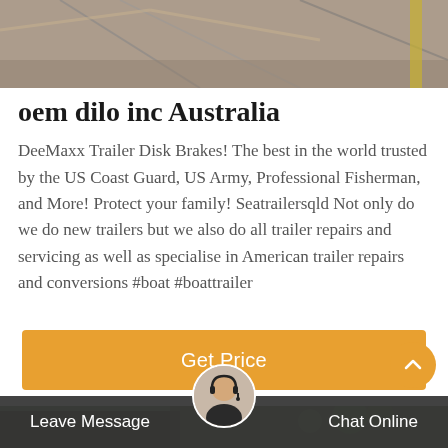[Figure (photo): Photo of boat trailer equipment, partially visible at the top of the page]
oem dilo inc Australia
DeeMaxx Trailer Disk Brakes! The best in the world trusted by the US Coast Guard, US Army, Professional Fisherman, and More! Protect your family! Seatrailersqld Not only do we do new trailers but we also do all trailer repairs and servicing as well as specialise in American trailer repairs and conversions #boat #boattrailer
[Figure (other): Orange 'Get Price' call-to-action button]
[Figure (photo): Photo of boat or trailer in background, partially visible at the bottom]
Leave Message  Chat Online